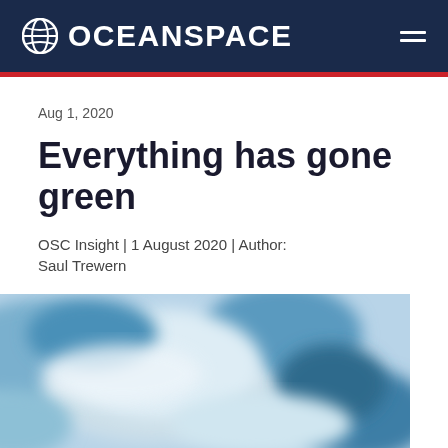OCEANSPACE
Aug 1, 2020
Everything has gone green
OSC Insight | 1 August 2020 | Author: Saul Trewern
[Figure (photo): Blurred blue and white ocean/water aerial photograph]